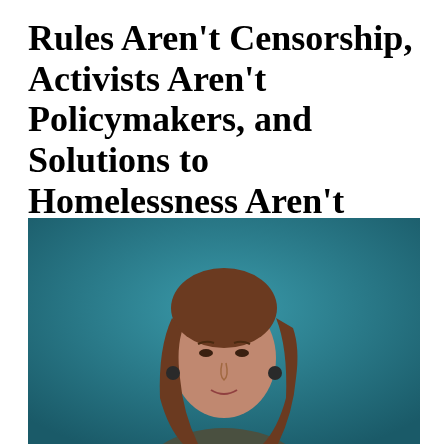Rules Aren't Censorship, Activists Aren't Policymakers, and Solutions to Homelessness Aren't Cheap
[Figure (screenshot): Video screenshot of a woman with long brown hair speaking, appearing to testify in an online hearing. Background is teal/dark teal with a Capitol dome graphic on the left side and a House of Representatives logo in the upper right corner. A red REC indicator is visible in the upper left.]